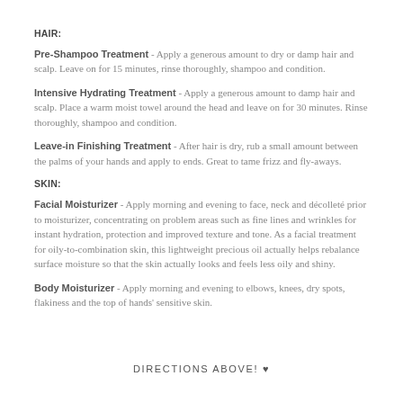HAIR:
Pre-Shampoo Treatment - Apply a generous amount to dry or damp hair and scalp. Leave on for 15 minutes, rinse thoroughly, shampoo and condition.
Intensive Hydrating Treatment - Apply a generous amount to damp hair and scalp. Place a warm moist towel around the head and leave on for 30 minutes. Rinse thoroughly, shampoo and condition.
Leave-in Finishing Treatment - After hair is dry, rub a small amount between the palms of your hands and apply to ends. Great to tame frizz and fly-aways.
SKIN:
Facial Moisturizer - Apply morning and evening to face, neck and décolleté prior to moisturizer, concentrating on problem areas such as fine lines and wrinkles for instant hydration, protection and improved texture and tone. As a facial treatment for oily-to-combination skin, this lightweight precious oil actually helps rebalance surface moisture so that the skin actually looks and feels less oily and shiny.
Body Moisturizer - Apply morning and evening to elbows, knees, dry spots, flakiness and the top of hands' sensitive skin.
DIRECTIONS ABOVE! ♥